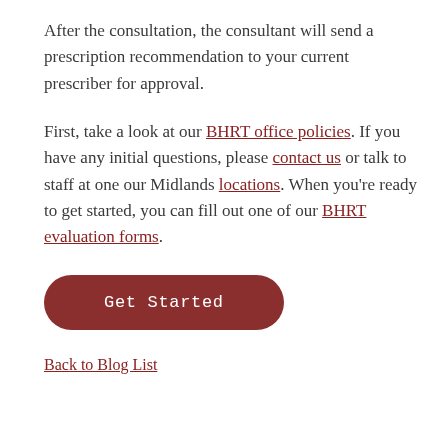After the consultation, the consultant will send a prescription recommendation to your current prescriber for approval.
First, take a look at our BHRT office policies. If you have any initial questions, please contact us or talk to staff at one our Midlands locations. When you're ready to get started, you can fill out one of our BHRT evaluation forms.
[Figure (other): Dark red rounded button with text 'Get Started' in monospace font]
Back to Blog List